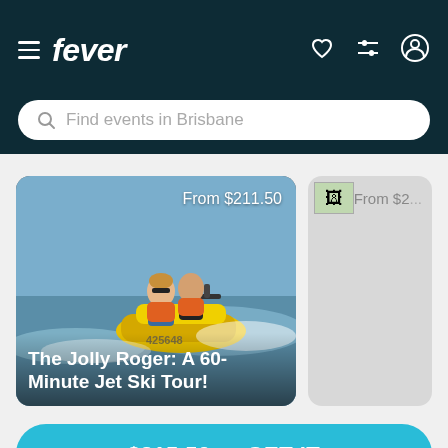fever — navigation bar with hamburger menu, heart, filter, and account icons
Find events in Brisbane
[Figure (photo): Two people riding a yellow jet ski at speed on the water. Text overlay shows 'From $211.50' at top right and 'The Jolly Roger: A 60-Minute Jet Ski Tour!' at bottom left.]
[Figure (photo): Partially visible second event card with small image thumbnail and price text 'From $2...' (cut off).]
$315.50 — GET IT